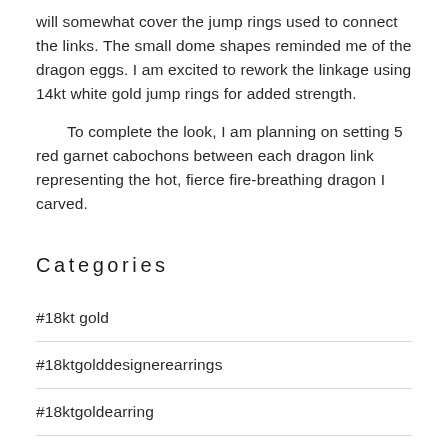will somewhat cover the jump rings used to connect the links. The small dome shapes reminded me of the dragon eggs. I am excited to rework the linkage using 14kt white gold jump rings for added strength.
To complete the look, I am planning on setting 5 red garnet cabochons between each dragon link representing the hot, fierce fire-breathing dragon I carved.
Categories
#18kt gold
#18ktgolddesignerearrings
#18ktgoldearring